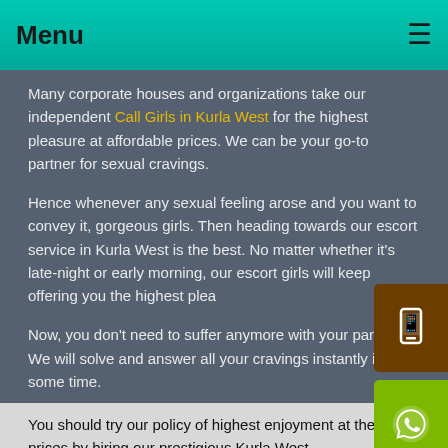Menu
Many corporate houses and organizations take our independent Call Girls in Kurla West for the highest pleasure at affordable prices. We can be your go-to partner for sexual cravings.
Hence whenever any sexual feeling arose and you want to convey it, gorgeous girls. Then heading towards our escort service in Kurla West is the best. No matter whether it's late-night or early morning, our escort girls will keep offering you the highest plea...
Now, you don't need to suffer anymore with your partner. We will solve and answer all your cravings instantly in some time.
You should try our policy of highest enjoyment at the least prices by hiring our prestigious Kurla West